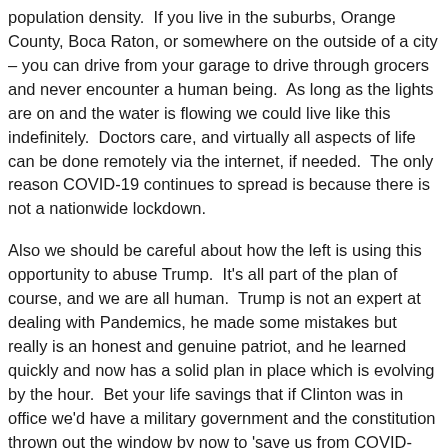population density.  If you live in the suburbs, Orange County, Boca Raton, or somewhere on the outside of a city – you can drive from your garage to drive through grocers and never encounter a human being.  As long as the lights are on and the water is flowing we could live like this indefinitely.  Doctors care, and virtually all aspects of life can be done remotely via the internet, if needed.  The only reason COVID-19 continues to spread is because there is not a nationwide lockdown.
Also we should be careful about how the left is using this opportunity to abuse Trump.  It's all part of the plan of course, and we are all human.  Trump is not an expert at dealing with Pandemics, he made some mistakes but really is an honest and genuine patriot, and he learned quickly and now has a solid plan in place which is evolving by the hour.  Bet your life savings that if Clinton was in office we'd have a military government and the constitution thrown out the window by now to 'save us from COVID-19'.  Remember that Lincoln was a temporary military dictator after the civil war, but then gave power to the next civilian President, Grant.
This is a critical time in our history, the world is watching.  If we come